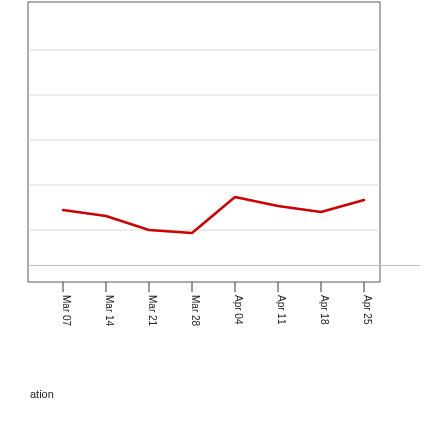[Figure (line-chart): Line chart showing trend from Mar 07 to Apr 25 with a red line, partially cropped at top]
ation